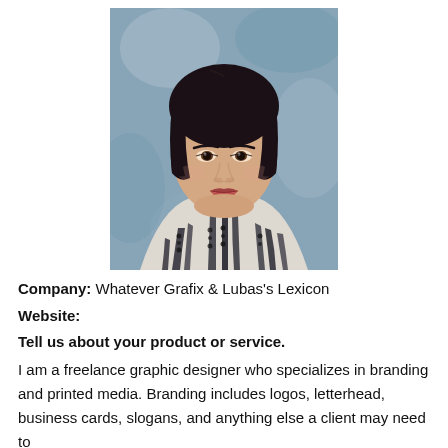[Figure (photo): Portrait photo of a young woman with dark short bowl-cut hair, wearing a white blouse with black vertical stripe pattern, against a blue-grey mottled background.]
Company:  Whatever Grafix & Lubas's Lexicon
Website:
Tell us about your product or service.
I am a freelance graphic designer who specializes in branding and printed media. Branding includes logos, letterhead, business cards, slogans, and anything else a client may need to